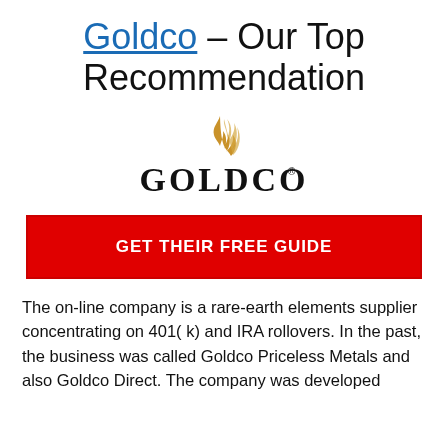Goldco – Our Top Recommendation
[Figure (logo): Goldco logo with golden flame above the text GOLDCO with a registered trademark symbol]
GET THEIR FREE GUIDE
The on-line company is a rare-earth elements supplier concentrating on 401( k) and IRA rollovers. In the past, the business was called Goldco Priceless Metals and also Goldco Direct. The company was developed